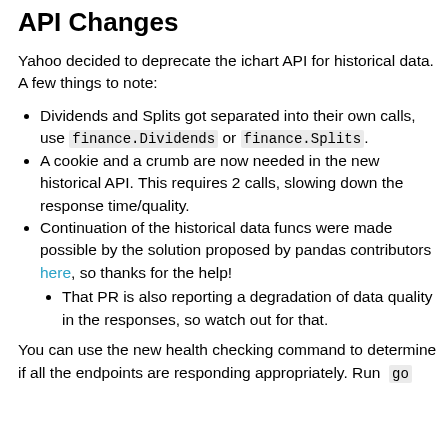API Changes
Yahoo decided to deprecate the ichart API for historical data. A few things to note:
Dividends and Splits got separated into their own calls, use finance.Dividends or finance.Splits.
A cookie and a crumb are now needed in the new historical API. This requires 2 calls, slowing down the response time/quality.
Continuation of the historical data funcs were made possible by the solution proposed by pandas contributors here, so thanks for the help!
That PR is also reporting a degradation of data quality in the responses, so watch out for that.
You can use the new health checking command to determine if all the endpoints are responding appropriately. Run go